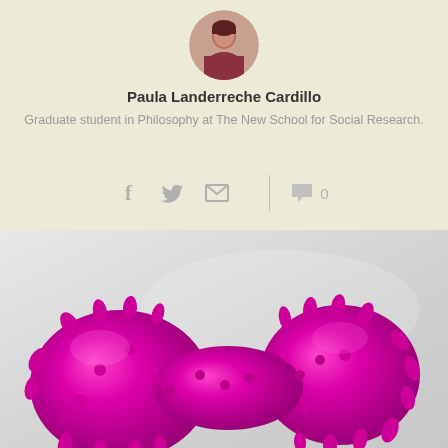[Figure (photo): Circular avatar photo of Paula Landerreche Cardillo]
Paula Landerreche Cardillo
Graduate student in Philosophy at The New School for Social Research.
[Figure (infographic): Social sharing icons: Facebook, Twitter, Email, and a comment count of 0]
[Figure (photo): Photo of a bright magenta/pink spiky rubber toy shaped like a bone or dumbbell on a light gray background]